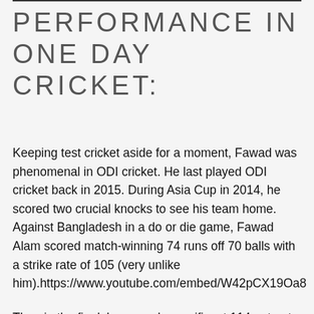PERFORMANCE IN ONE DAY CRICKET:
Keeping test cricket aside for a moment, Fawad was phenomenal in ODI cricket. He last played ODI cricket back in 2015. During Asia Cup in 2014, he scored two crucial knocks to see his team home. Against Bangladesh in a do or die game, Fawad Alam scored match-winning 74 runs off 70 balls with a strike rate of 105 (very unlike him).https://www.youtube.com/embed/W42pCX19Oa8
Then in the final, he scored magnificent 114 not out off 134 balls. He came to bat when green shirts were struggling at 48 for 3. Time and again he proved his...